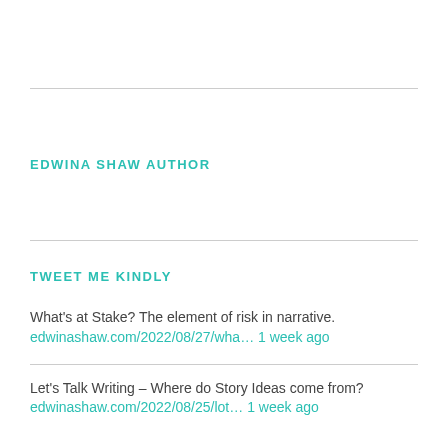EDWINA SHAW AUTHOR
TWEET ME KINDLY
What's at Stake? The element of risk in narrative.
edwinashaw.com/2022/08/27/wha… 1 week ago
Let's Talk Writing – Where do Story Ideas come from?
edwinashaw.com/2022/08/25/lot… 1 week ago